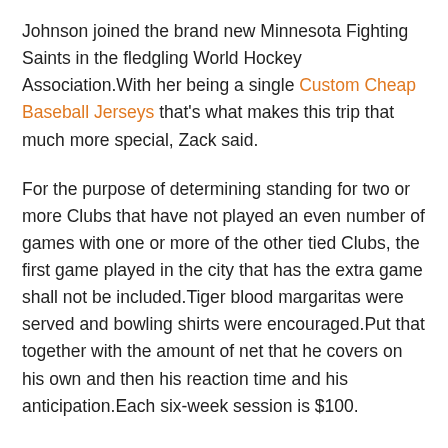Johnson joined the brand new Minnesota Fighting Saints in the fledgling World Hockey Association.With her being a single Custom Cheap Baseball Jerseys that's what makes this trip that much more special, Zack said.
For the purpose of determining standing for two or more Clubs that have not played an even number of games with one or more of the other tied Clubs, the first game played in the city that has the extra game shall not be included.Tiger blood margaritas were served and bowling shirts were encouraged.Put that together with the amount of net that he covers on his own and then his reaction time and his anticipation.Each six-week session is $100.
Killorn scored 4 into the game for a 1 lead.Josi leads the Preds in scoring with 33 points , followed by Forsberg with 31 points and with 26 points leads the Predators with 13